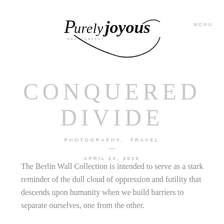[Figure (logo): Purely Joyous Photography handwritten script logo in black ink]
MENU
CONQUERED DIVIDE
PHOTOGRAPHY, TRAVEL
—
APRIL 24, 2019
The Berlin Wall Collection is intended to serve as a stark reminder of the dull cloud of oppression and futility that descends upon humanity when we build barriers to separate ourselves, one from the other.
As the Berlin Wall crumbles and tears away we are